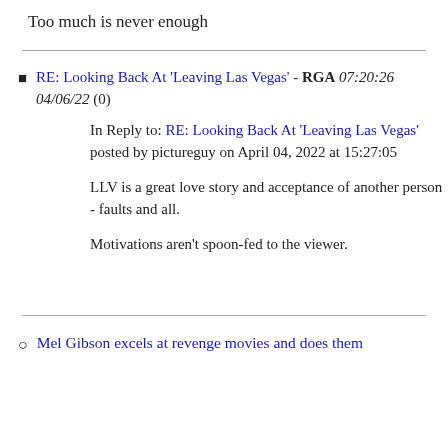Too much is never enough
RE: Looking Back At 'Leaving Las Vegas' - RGA 07:20:26 04/06/22 (0)
In Reply to: RE: Looking Back At 'Leaving Las Vegas' posted by pictureguy on April 04, 2022 at 15:27:05
LLV is a great love story and acceptance of another person - faults and all.
Motivations aren't spoon-fed to the viewer.
Mel Gibson excels at revenge movies and does them